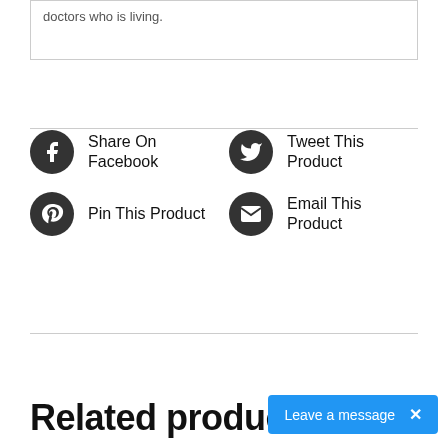doctors who is living.
Share On Facebook
Tweet This Product
Pin This Product
Email This Product
Related products
Leave a message